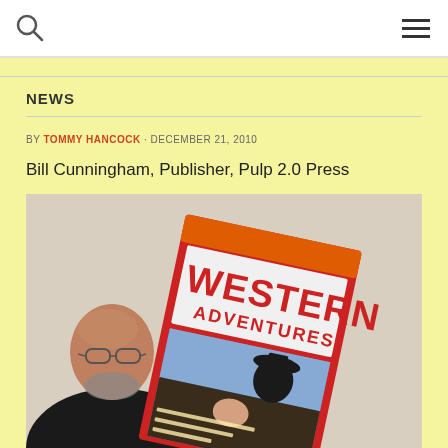Search | Menu
NEWS
BY TOMMY HANCOCK · DECEMBER 21, 2010
Bill Cunningham, Publisher, Pulp 2.0 Press
[Figure (photo): A bald man with glasses and a beard in a black shirt holds up a vintage Western Adventures pulp magazine cover featuring a cowboy in black hat and a woman, with bold red and white lettering reading WESTERN ADVENTURES]